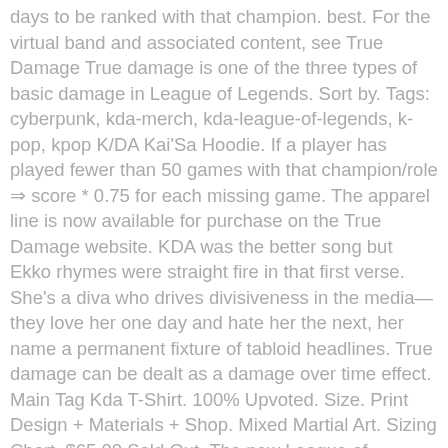days to be ranked with that champion. best. For the virtual band and associated content, see True Damage True damage is one of the three types of basic damage in League of Legends. Sort by. Tags: cyberpunk, kda-merch, kda-league-of-legends, k-pop, kpop K/DA Kai'Sa Hoodie. If a player has played fewer than 50 games with that champion/role ⇒ score * 0.75 for each missing game. The apparel line is now available for purchase on the True Damage website. KDA was the better song but Ekko rhymes were straight fire in that first verse. She's a diva who drives divisiveness in the media—they love her one day and hate her the next, her name a permanent fixture of tabloid headlines. True damage can be dealt as a damage over time effect. Main Tag Kda T-Shirt. 100% Upvoted. Size. Print Design + Materials + Shop. Mixed Martial Art. Sizing Chart. $65.00 Sold Out. The new League of Legends collection is currently available on the True Damage website, and it consists of apparel that is priced between $35-$65. Accessories. kda +2 more # 7. True Damage we do it. True